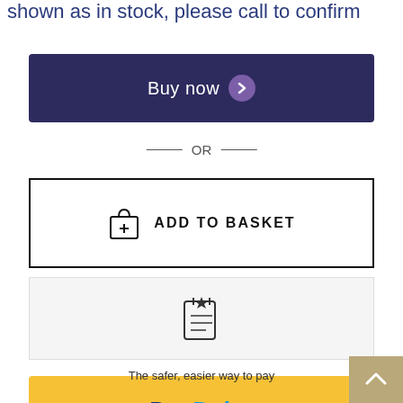shown as in stock, please call to confirm
[Figure (other): Buy now button with dark navy background and purple chevron circle icon]
— OR —
[Figure (other): Add to basket button with white background and black border, shopping bag icon with plus]
[Figure (other): Wishlist/save button with light grey background and clipboard with star icon]
[Figure (other): PayPal payment button with yellow background and PayPal logo]
The safer, easier way to pay